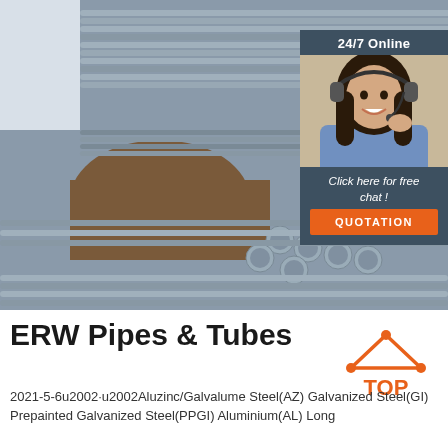[Figure (photo): Stack of steel ERW pipes and round bars piled outdoors, grey metallic color, with soil/dirt visible beneath]
[Figure (infographic): 24/7 Online customer service sidebar with woman wearing headset, 'Click here for free chat!' text and orange QUOTATION button]
ERW Pipes & Tubes
[Figure (logo): TOP logo - orange triangle/house shape with dots and TOP text in orange]
2021-5-6u2002·u2002Aluzinc/Galvalume Steel(AZ) Galvanized Steel(GI) Prepainted Galvanized Steel(PPGI) Aluminium(AL) Long